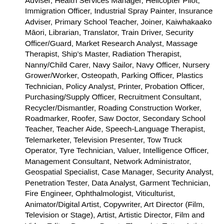Adviser, Health Services Manager, Helicopter Pilot, Immigration Officer, Industrial Spray Painter, Insurance Adviser, Primary School Teacher, Joiner, Kaiwhakaako Māori, Librarian, Translator, Train Driver, Security Officer/Guard, Market Research Analyst, Massage Therapist, Ship's Master, Radiation Therapist, Nanny/Child Carer, Navy Sailor, Navy Officer, Nursery Grower/Worker, Osteopath, Parking Officer, Plastics Technician, Policy Analyst, Printer, Probation Officer, Purchasing/Supply Officer, Recruitment Consultant, Recycler/Dismantler, Roading Construction Worker, Roadmarker, Roofer, Saw Doctor, Secondary School Teacher, Teacher Aide, Speech-Language Therapist, Telemarketer, Television Presenter, Tow Truck Operator, Tyre Technician, Valuer, Intelligence Officer, Management Consultant, Network Administrator, Geospatial Specialist, Case Manager, Security Analyst, Penetration Tester, Data Analyst, Garment Technician, Fire Engineer, Ophthalmologist, Viticulturist, Animator/Digital Artist, Copywriter, Art Director (Film, Television or Stage), Artist, Artistic Director, Film and Video Editor, Dancer, Beauty Therapist, Tattoo Artist, Entertainer, Film/Television Camera Operator, Graphic Designer, Interior Designer, Musician, Event Manager, Jeweller, Make-up Artist, Curator, Demonstrator, Director (Film, Television, Radio or Stage), Visual Merchandiser, Exhibition and Collections Technician, Media Producer, Lighting Technician, Game Developer, Hairdresser/Barber, Model, Photographer, Private Teacher/Tutor, Signmaker